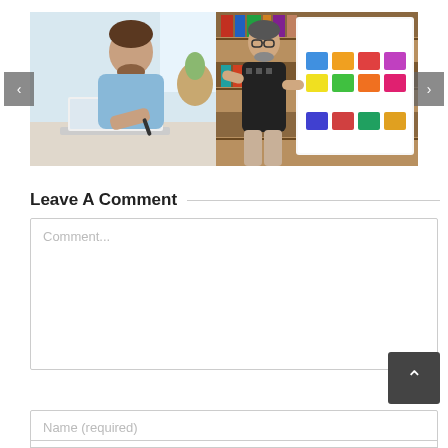[Figure (photo): Two photos in a carousel: left photo shows a young man with beard working on a laptop, writing notes; right photo shows a man with glasses holding a whiteboard covered in colorful sticky notes in a library setting. Navigation arrows on left and right sides.]
Leave A Comment
[Figure (screenshot): Comment form with a large textarea showing placeholder text 'Comment...', a scroll-to-top button (chevron up), and a Name (required) input field below.]